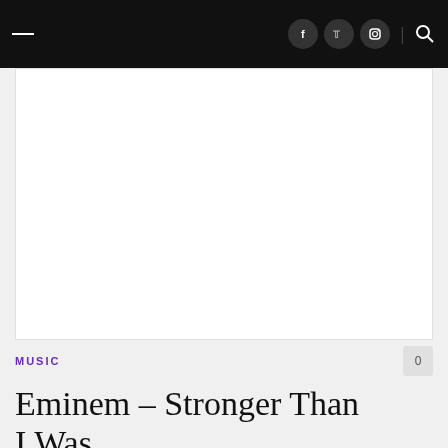MUSIC — navigation header with social icons (Facebook, Twitter, Instagram) and search
[Figure (other): White advertisement block placeholder]
MUSIC
Eminem – Stronger Than I Was
By ErikJansson · On 2021-12-28